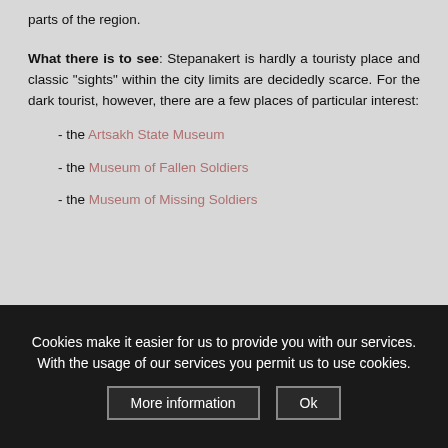parts of the region.
What there is to see: Stepanakert is hardly a touristy place and classic "sights" within the city limits are decidedly scarce. For the dark tourist, however, there are a few places of particular interest:
- the Artsakh State Museum
- the Museum of Fallen Soldiers
- the Museum of Missing Soldiers
Cookies make it easier for us to provide you with our services. With the usage of our services you permit us to use cookies.